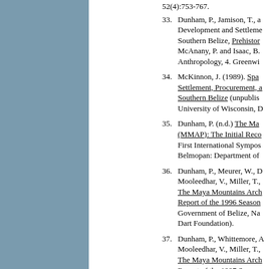52(4):753-767.
33. Dunham, P., Jamison, T., a... Development and Settleme... Southern Belize, Prehistor... McAnany, P. and Isaac, B.... Anthropology, 4. Greenwi...
34. McKinnon, J. (1989). Spa... Settlement, Procurement, a... Southern Belize (unpublis... University of Wisconsin, D...
35. Dunham, P. (n.d.) The Ma... (MMAP): The Initial Reco... First International Sympos... Belmopan: Department of...
36. Dunham, P., Meurer, W., D... Mooleedhar, V., Miller, T.,... The Maya Mountains Arch... Report of the 1996 Season... Government of Belize, Na... Dart Foundation).
37. Dunham, P., Whittemore, A... Mooleedhar, V., Miller, T.,... The Maya Mountains Arch... Report of the 1997 Season... Government of Belize, Na... KeyCorp).
38. Dunham, P., Buchanan, J.,... Stafford, P., Persson, V., A... Hays, R., Verenice, H., Ki... (1998). The Maya Mounta... Field Report of the 1998 S... Government of Belize, Na... Foundation).